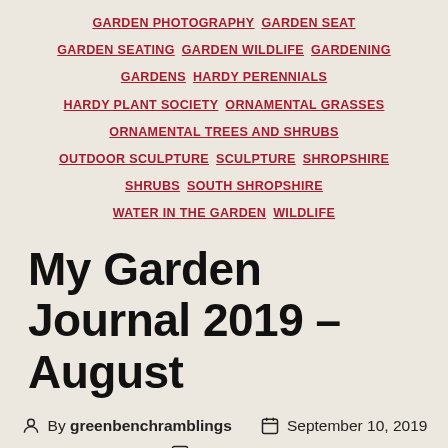GARDEN PHOTOGRAPHY  GARDEN SEAT  GARDEN SEATING  GARDEN WILDLIFE  GARDENING  GARDENS  HARDY PERENNIALS  HARDY PLANT SOCIETY  ORNAMENTAL GRASSES  ORNAMENTAL TREES AND SHRUBS  OUTDOOR SCULPTURE  SCULPTURE  SHROPSHIRE  SHRUBS  SOUTH SHROPSHIRE  WATER IN THE GARDEN  WILDLIFE
My Garden Journal 2019 – August
By greenbenchramblings   September 10, 2019   1 Comment
Here we are with my journal entries looking at the last month of summer according to the the MetOffice